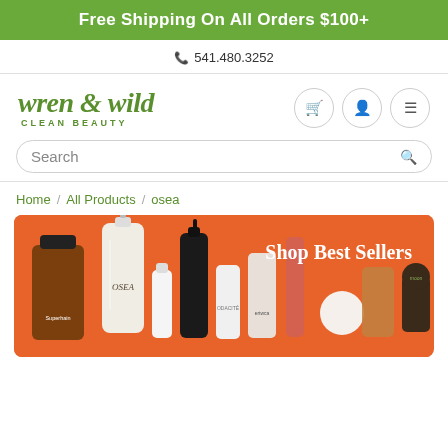Free Shipping On All Orders $100+
541.480.3252
[Figure (logo): Wren & Wild Clean Beauty logo in green serif italic font]
Search
Home / All Products / osea
[Figure (photo): Orange background promotional banner showing multiple beauty product bottles and containers with text 'Shop Best Sellers']